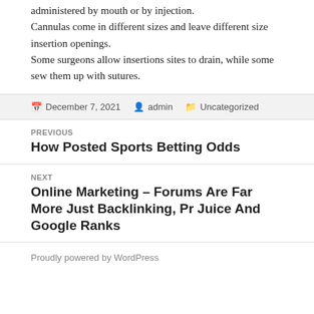administered by mouth or by injection. Cannulas come in different sizes and leave different size insertion openings. Some surgeons allow insertions sites to drain, while some sew them up with sutures.
December 7, 2021  admin  Uncategorized
PREVIOUS
How Posted Sports Betting Odds
NEXT
Online Marketing – Forums Are Far More Just Backlinking, Pr Juice And Google Ranks
Proudly powered by WordPress